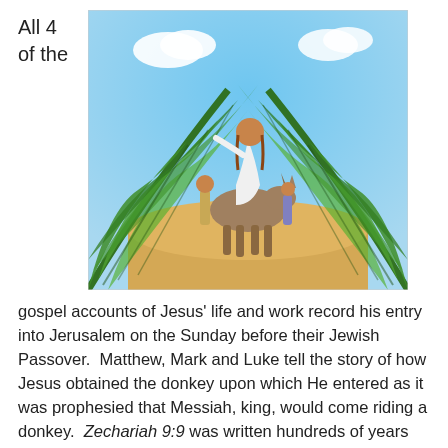All 4 of the
[Figure (illustration): Illustration of Jesus riding a donkey into Jerusalem, framed by large green palm fronds on either side, with a blue sky background and other figures visible.]
gospel accounts of Jesus’ life and work record his entry into Jerusalem on the Sunday before their Jewish Passover.  Matthew, Mark and Luke tell the story of how Jesus obtained the donkey upon which He entered as it was prophesied that Messiah, king, would come riding a donkey.  Zechariah 9:9 was written hundreds of years before the event “Rejoice greatly, O Daughter of Zion!  Shout, Daughter of Jerusalem!  your king comes to you gentle and riding